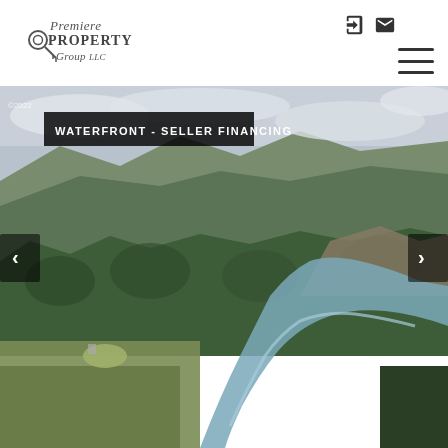[Figure (logo): Premiere Property Group LLC logo with key icon, script and serif text]
[Figure (photo): Aerial drone photo of forested mountainous landscape with a winding river/creek, conifer trees, and rocky terrain. Overcast sky.]
WATERFRONT - SELLER FINANCING